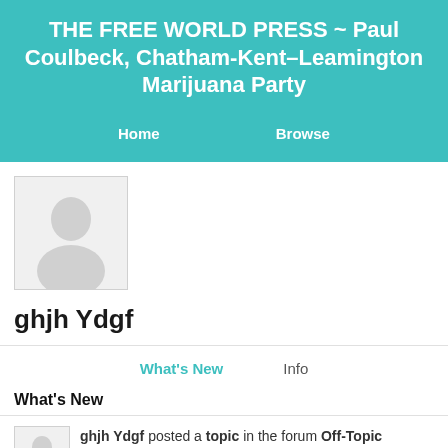THE FREE WORLD PRESS ~ Paul Coulbeck, Chatham-Kent–Leamington Marijuana Party
Home   Browse
[Figure (illustration): Default user profile avatar placeholder image — light grey background with silhouette of a person (head and shoulders) in slightly darker grey]
ghjh Ydgf
What's New   Info
What's New
ghjh Ydgf posted a topic in the forum Off-Topic Discussions: